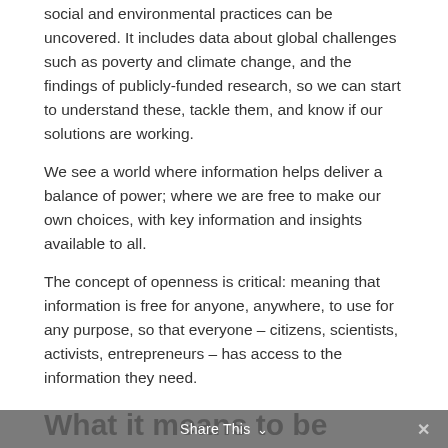social and environmental practices can be uncovered. It includes data about global challenges such as poverty and climate change, and the findings of publicly-funded research, so we can start to understand these, tackle them, and know if our solutions are working.
We see a world where information helps deliver a balance of power; where we are free to make our own choices, with key information and insights available to all.
The concept of openness is critical: meaning that information is free for anyone, anywhere, to use for any purpose, so that everyone – citizens, scientists, activists, entrepreneurs – has access to the information they need.
What it means to be open
We set the standard for genuinely free and open
Share This ∨  ✕